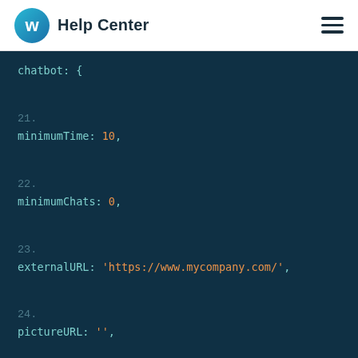Help Center
[Figure (screenshot): Code block showing JavaScript/JSON configuration snippet with properties: chatbot: {, minimumTime: 10, minimumChats: 0, externalURL: 'https://www.mycompany.com/', pictureURL: '']
chatbot: {
21. minimumTime: 10,
22. minimumChats: 0,
23. externalURL: 'https://www.mycompany.com/',
24. pictureURL: '',
25.